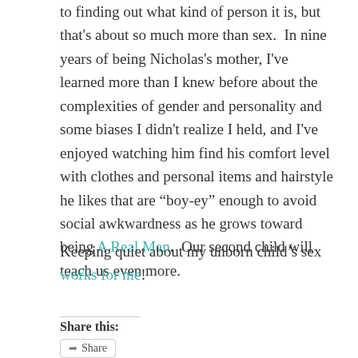to finding out what kind of person it is, but that's about so much more than sex.  In nine years of being Nicholas's mother, I've learned more than I knew before about the complexities of gender and personality and some biases I didn't realize I held, and I've enjoyed watching him find his comfort level with clothes and personal items and hairstyle he likes that are “boy-ey” enough to avoid social awkwardness as he grows toward being A Real Man.  Our second child will teach us even more.
Keeping quiet about my unborn child's sex works for me!
Share this: